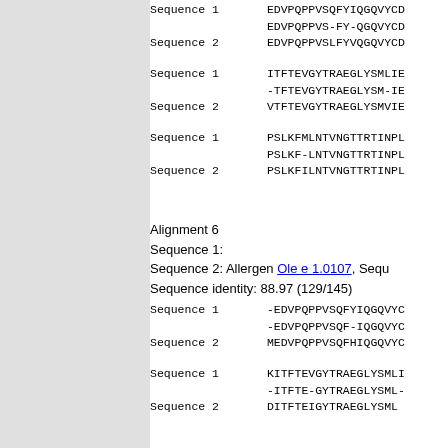Sequence  1  EDVPQPPVSQFYIQGQVYCD
                    EDVPQPPVS-FY-QGQVYCD
Sequence  2  EDVPQPPVSLFYVQGQVYCD
Sequence  1  ITFTEVGYTRAEGLYSMLIE
                    -TFTEVGYTRAEGLYSM-IE
Sequence  2  VTFTEVGYTРАEGLYSMVIE
Sequence  1  PSLKFMLNTVNGTTRTINPL
                    PSLKF-LNTVNGTTRTINPL
Sequence  2  PSLKFILNTVNGTTRTINPL
Alignment 6
Sequence 1:
Sequence 2: Allergen Ole e 1.0107, Sequ
Sequence identity: 88.97 (129/145)
Sequence  1  -EDVPQPPVSQFYIQGQVYC
                    -EDVPQPPVSQF-IQGQVYC
Sequence  2  MEDVPQPPVSQFHIQGQVYC
Sequence  1  KITFTEVGYTRAEGLYSMLI
                    -ITFTE-GYTRAEGLYSML-
Sequence  2  DITFTEIGYTRAEGLYSML